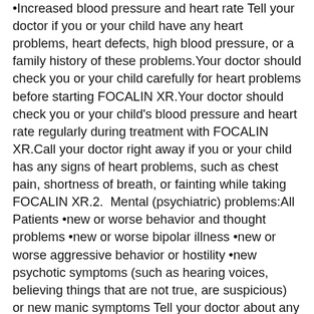•Increased blood pressure and heart rate Tell your doctor if you or your child have any heart problems, heart defects, high blood pressure, or a family history of these problems.Your doctor should check you or your child carefully for heart problems before starting FOCALIN XR.Your doctor should check you or your child's blood pressure and heart rate regularly during treatment with FOCALIN XR.Call your doctor right away if you or your child has any signs of heart problems, such as chest pain, shortness of breath, or fainting while taking FOCALIN XR.2.  Mental (psychiatric) problems:All Patients •new or worse behavior and thought problems •new or worse bipolar illness •new or worse aggressive behavior or hostility •new psychotic symptoms (such as hearing voices, believing things that are not true, are suspicious) or new manic symptoms Tell your doctor about any mental problems you or your child have, or about a family history of suicide, bipolar illness, or depression.Call your doctor right away if you or your child have any new or worsening mental symptoms or problems while taking FOCALIN XR,